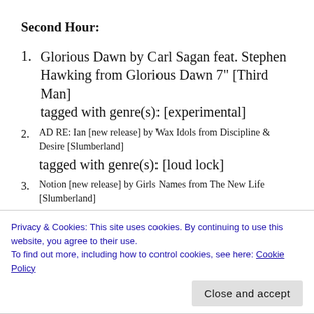Second Hour:
1. Glorious Dawn by Carl Sagan feat. Stephen Hawking from Glorious Dawn 7" [Third Man] tagged with genre(s): [experimental]
2. AD RE: Ian [new release] by Wax Idols from Discipline & Desire [Slumberland] tagged with genre(s): [loud lock]
3. Notion [new release] by Girls Names from The New Life [Slumberland]
Privacy & Cookies: This site uses cookies. By continuing to use this website, you agree to their use.
To find out more, including how to control cookies, see here: Cookie Policy
5. Sleepwalking [new release] by Deemunter from